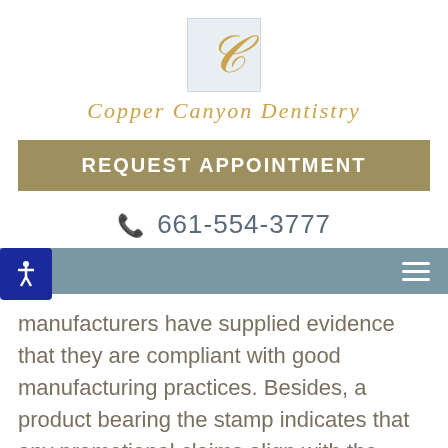[Figure (logo): Copper Canyon Dentistry logo with stylized golden C letter on light blue background and decorative script brand name below]
REQUEST APPOINTMENT
📞 661-554-3777
manufacturers have supplied evidence that they are compliant with good manufacturing practices. Besides, a product bearing the stamp indicates that any promotional claims align with the product's safety and effectiveness.